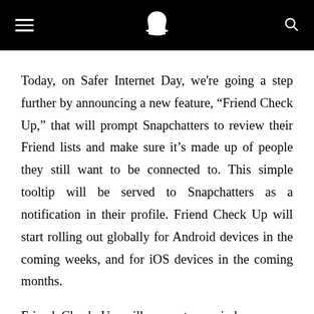Snapchat navigation header
Today, on Safer Internet Day, we're going a step further by announcing a new feature, “Friend Check Up,” that will prompt Snapchatters to review their Friend lists and make sure it’s made up of people they still want to be connected to. This simple tooltip will be served to Snapchatters as a notification in their profile. Friend Check Up will start rolling out globally for Android devices in the coming weeks, and for iOS devices in the coming months.
Friend Check Up will serve to remind